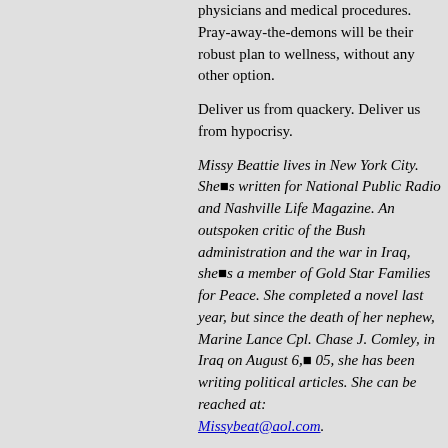physicians and medical procedures. Pray-away-the-demons will be their robust plan to wellness, without any other option.
Deliver us from quackery. Deliver us from hypocrisy.
Missy Beattie lives in New York City. She■s written for National Public Radio and Nashville Life Magazine. An outspoken critic of the Bush administration and the war in Iraq, she■s a member of Gold Star Families for Peace. She completed a novel last year, but since the death of her nephew, Marine Lance Cpl. Chase J. Comley, in Iraq on August 6,■ 05, she has been writing political articles. She can be reached at: Missybeat@aol.com.
Copyright © 1998-2007 Online Journal
Email Online Journal Editor
Top of Page